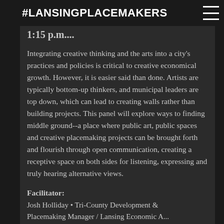#LANSINGPLACEMAKERS
1:15 p.m....
Integrating creative thinking and the arts into a city's practices and policies is critical to creative economical growth. However, it is easier said than done. Artists are typically bottom-up thinkers, and municipal leaders are top down, which can lead to creating walls rather than building projects. This panel will explore ways to finding middle ground--a place where public art, public spaces and creative placemaking projects can be brought forth and flourish through open communication, creating a receptive space on both sides for listening, expressing and truly hearing alternative views.
Facilitator:
Josh Holliday • Tri-County Development & Placemaking Manager / Lansing Economic A...